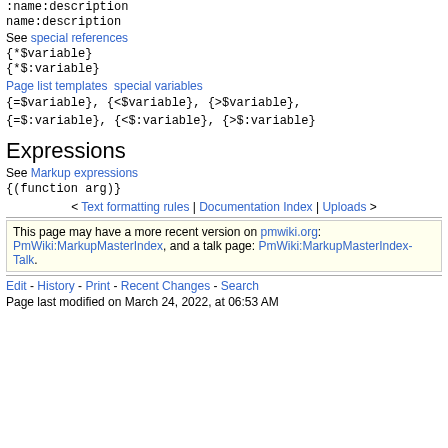:name:description
name:description
See special references
{*$variable}
{*$:variable}
Page list templates  special variables
{=$variable}, {<$variable}, {>$variable}, {=$:variable}, {<$:variable}, {>$:variable}
Expressions
See Markup expressions
{(function arg)}
< Text formatting rules | Documentation Index | Uploads >
This page may have a more recent version on pmwiki.org: PmWiki:MarkupMasterIndex, and a talk page: PmWiki:MarkupMasterIndex-Talk.
Edit - History - Print - Recent Changes - Search
Page last modified on March 24, 2022, at 06:53 AM